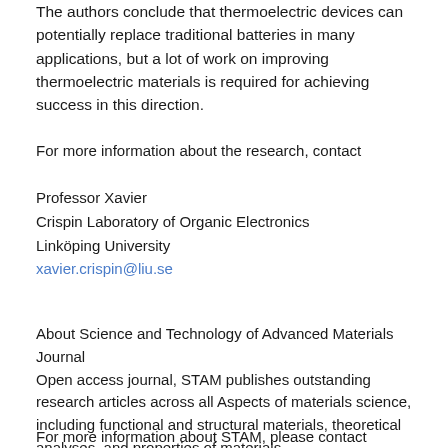The authors conclude that thermoelectric devices can potentially replace traditional batteries in many applications, but a lot of work on improving thermoelectric materials is required for achieving success in this direction.
For more information about the research, contact
Professor Xavier
Crispin Laboratory of Organic Electronics
Linköping University
xavier.crispin@liu.se
About Science and Technology of Advanced Materials Journal Open access journal, STAM publishes outstanding research articles across all Aspects of materials science, including functional and structural materials, theoretical analyses, and properties of materials.
For more information about STAM, please contact